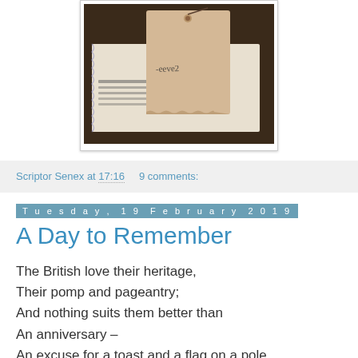[Figure (photo): A photograph showing what appears to be a beige/tan luggage tag or card on top of some printed paper with text, set on a dark wooden surface.]
Scriptor Senex at 17:16     9 comments:
Tuesday, 19 February 2019
A Day to Remember
The British love their heritage,
Their pomp and pageantry;
And nothing suits them better than
An anniversary –
An excuse for a toast and a flag on a pole,
Or a plaque, or to plant a tree,